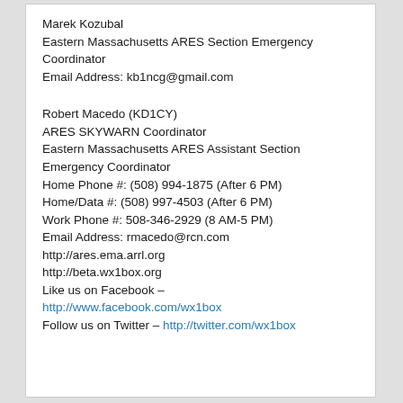Marek Kozubal
Eastern Massachusetts ARES Section Emergency Coordinator
Email Address: kb1ncg@gmail.com
Robert Macedo (KD1CY)
ARES SKYWARN Coordinator
Eastern Massachusetts ARES Assistant Section Emergency Coordinator
Home Phone #: (508) 994-1875 (After 6 PM)
Home/Data #: (508) 997-4503 (After 6 PM)
Work Phone #: 508-346-2929 (8 AM-5 PM)
Email Address: rmacedo@rcn.com
http://ares.ema.arrl.org
http://beta.wx1box.org
Like us on Facebook – http://www.facebook.com/wx1box
Follow us on Twitter – http://twitter.com/wx1box